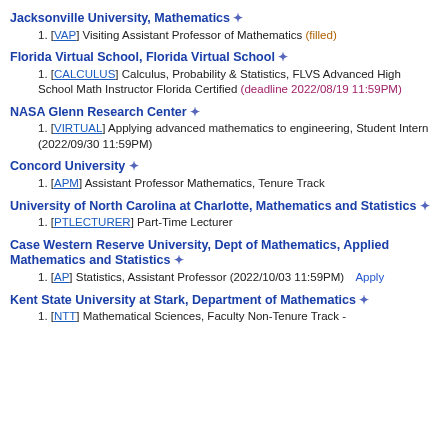Jacksonville University, Mathematics ❄
1. [VAP] Visiting Assistant Professor of Mathematics (filled)
Florida Virtual School, Florida Virtual School ❄
1. [CALCULUS] Calculus, Probability & Statistics, FLVS Advanced High School Math Instructor Florida Certified (deadline 2022/08/19 11:59PM)
NASA Glenn Research Center ❄
1. [VIRTUAL] Applying advanced mathematics to engineering, Student Intern (2022/09/30 11:59PM)
Concord University ❄
1. [APM] Assistant Professor Mathematics, Tenure Track
University of North Carolina at Charlotte, Mathematics and Statistics ❄
1. [PTLECTURER] Part-Time Lecturer
Case Western Reserve University, Dept of Mathematics, Applied Mathematics and Statistics ❄
1. [AP] Statistics, Assistant Professor (2022/10/03 11:59PM)  Apply
Kent State University at Stark, Department of Mathematics ❄
1. [NTT] Mathematical Sciences, Faculty Non-Tenure Track -